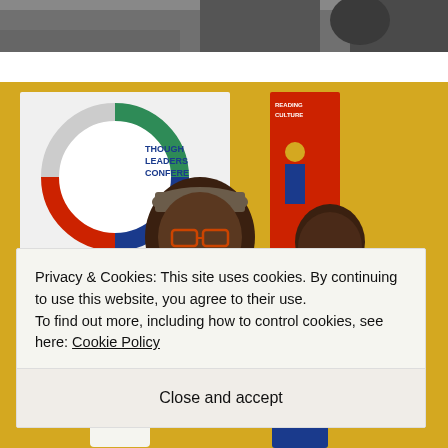[Figure (photo): Top portion of a photo showing people, partially visible at the top of the page]
[Figure (photo): Photo of a man wearing a cap and glasses, smiling, standing in front of a 'Thought Leaders Conference' banner with a circular logo, and a younger person beside him. Yellow background visible.]
Privacy & Cookies: This site uses cookies. By continuing to use this website, you agree to their use.
To find out more, including how to control cookies, see here: Cookie Policy
Close and accept